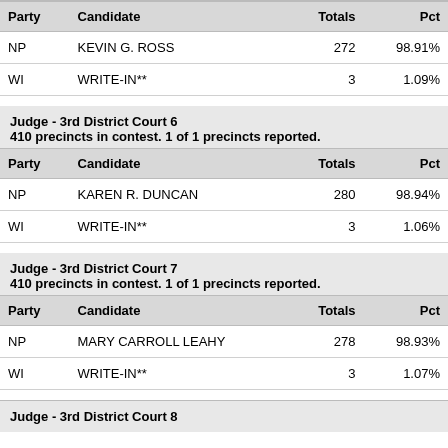| Party | Candidate | Totals | Pct |
| --- | --- | --- | --- |
| NP | KEVIN G. ROSS | 272 | 98.91% |
| WI | WRITE-IN** | 3 | 1.09% |
Judge - 3rd District Court 6
410 precincts in contest. 1 of 1 precincts reported.
| Party | Candidate | Totals | Pct |
| --- | --- | --- | --- |
| NP | KAREN R. DUNCAN | 280 | 98.94% |
| WI | WRITE-IN** | 3 | 1.06% |
Judge - 3rd District Court 7
410 precincts in contest. 1 of 1 precincts reported.
| Party | Candidate | Totals | Pct |
| --- | --- | --- | --- |
| NP | MARY CARROLL LEAHY | 278 | 98.93% |
| WI | WRITE-IN** | 3 | 1.07% |